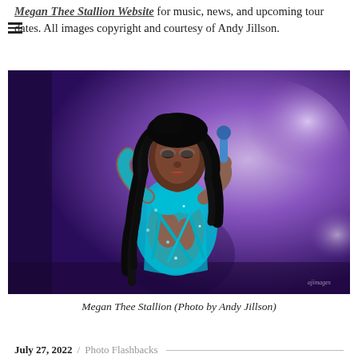Megan Thee Stallion Website for music, news, and upcoming tour dates. All images copyright and courtesy of Andy Jillson.
[Figure (photo): Megan Thee Stallion performing on stage wearing a turquoise/teal bedazzled bodysuit, holding a microphone, with purple stage lighting in the background. Watermark reads 'ajimages'.]
Megan Thee Stallion (Photo by Andy Jillson)
CONTINUE VIEWING
July 27, 2022 / Photo Flashbacks